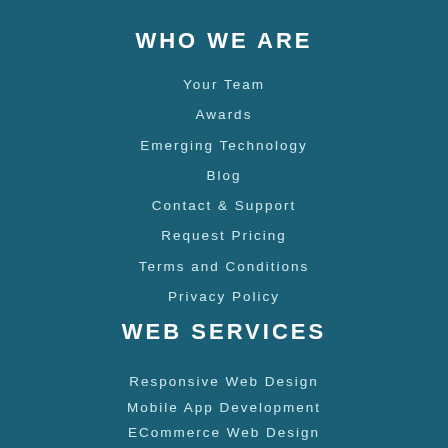WHO WE ARE
Your Team
Awards
Emerging Technology
Blog
Contact & Support
Request Pricing
Terms and Conditions
Privacy Policy
WEB SERVICES
Responsive Web Design
Mobile App Development
ECommerce Web Design